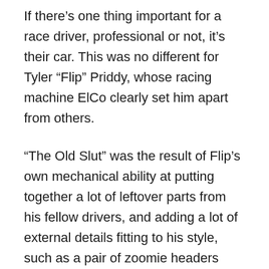If there’s one thing important for a race driver, professional or not, it’s their car. This was no different for Tyler “Flip” Priddy, whose racing machine ElCo clearly set him apart from others.
“The Old Slut” was the result of Flip’s own mechanical ability at putting together a lot of leftover parts from his fellow drivers, and adding a lot of external details fitting to his style, such as a pair of zoomie headers charged with nitrous.
It’s very clear Flip wasn’t shy about liking his